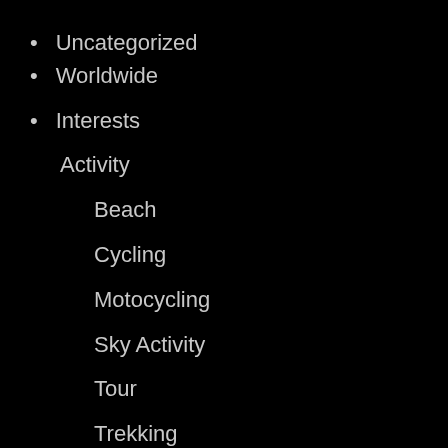Uncategorized
Worldwide
Interests
Activity
Beach
Cycling
Motocycling
Sky Activity
Tour
Trekking